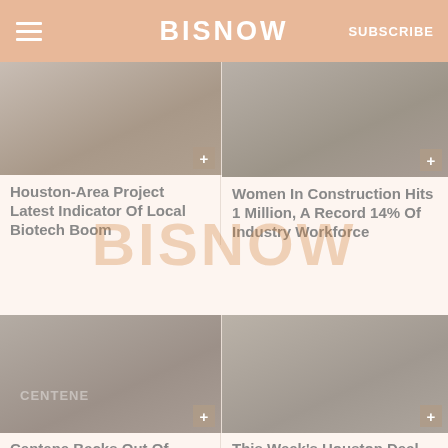BISNOW
[Figure (photo): Architectural rendering of a building exterior, Houston-area biotech project]
[Figure (photo): Woman in construction/work setting, representing Women in Construction milestone]
Houston-Area Project Latest Indicator Of Local Biotech Boom
Women In Construction Hits 1 Million, A Record 14% Of Industry Workforce
[Figure (photo): Exterior of Centene building under construction, modern architecture]
[Figure (photo): Aerial view of Houston area development, This Week's Houston Deal Sheet]
Centene Backs Out Of Under-Construction $1B East Coast HQ, Citing
This Week's Houston Deal Sheet